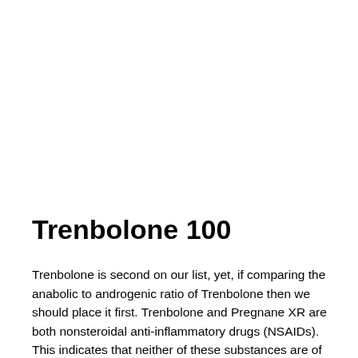Trenbolone 100
Trenbolone is second on our list, yet, if comparing the anabolic to androgenic ratio of Trenbolone then we should place it first. Trenbolone and Pregnane XR are both nonsteroidal anti-inflammatory drugs (NSAIDs). This indicates that neither of these substances are of great value for preventing Trenbolone or Pregnane XR induced liver